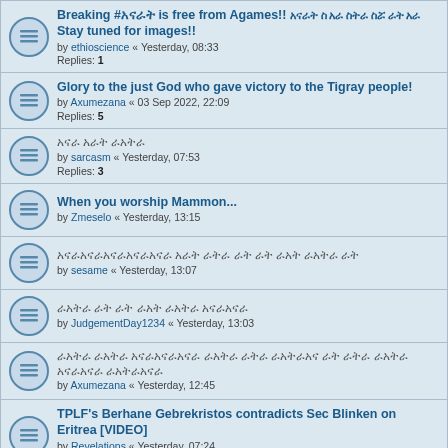Breaking #[amharic] is free from Agames!! [amharic text] Stay tuned for images!! by ethioscience « Yesterday, 08:33 Replies: 1
Glory to the just God who gave victory to the Tigray people! by Axumezana « 03 Sep 2022, 22:09 Replies: 5
[amharic title] by sarcasm « Yesterday, 07:53 Replies: 3
When you worship Mammon... by Zmeselo « Yesterday, 13:15
[amharic title] by sesame « Yesterday, 13:07
[amharic title] by JudgementDay1234 « Yesterday, 13:03
[amharic title] by Axumezana « Yesterday, 12:45
TPLF's Berhane Gebrekristos contradicts Sec Blinken on Eritrea [VIDEO] by Revelations « Yesterday, 07:24 Replies: 7
^^^{{{JUST IN}}}^^^Video News Of:[amharic] [amharic]:-685 [amharic](((amharic)))!!! WEEY GUUD !!! by tarik « Yesterday, 12:20
Dr. Abby Ahmed : Highly scrutinized leader in today's Ethiopia